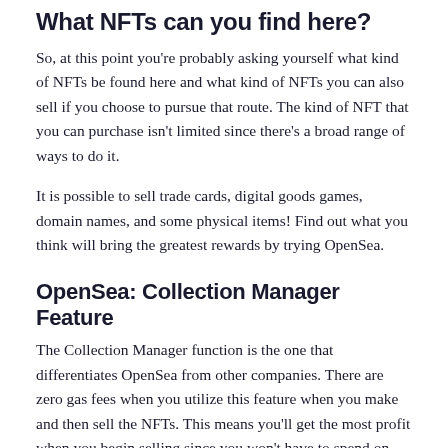What NFTs can you find here?
So, at this point you're probably asking yourself what kind of NFTs be found here and what kind of NFTs you can also sell if you choose to pursue that route. The kind of NFT that you can purchase isn't limited since there's a broad range of ways to do it.
It is possible to sell trade cards, digital goods games, domain names, and some physical items! Find out what you think will bring the greatest rewards by trying OpenSea.
OpenSea: Collection Manager Feature
The Collection Manager function is the one that differentiates OpenSea from other companies. There are zero gas fees when you utilize this feature when you make and then sell the NFTs. This means you'll get the most profit when you begin selling since you won't have to spend on any additional charges